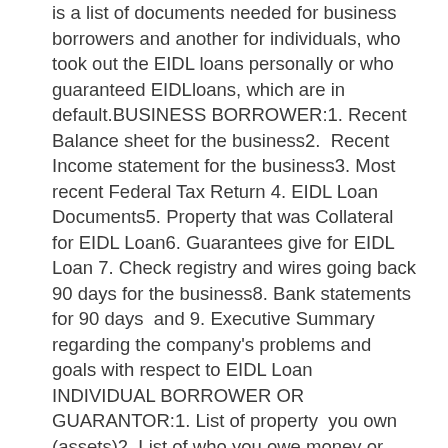is a list of  documents needed for business borrowers and another for individuals, who took out the EIDL loans personally or who guaranteed EIDLloans, which are in default.BUSINESS BORROWER:1. Recent Balance sheet for the business2.  Recent Income statement for the business3. Most recent Federal Tax Return 4. EIDL Loan Documents5. Property that was Collateral for EIDL Loan6. Guarantees give for EIDL Loan 7. Check registry and wires going back 90 days for the business8. Bank statements for 90 days  and 9. Executive Summary  regarding the company's problems and  goals with respect to EIDL Loan INDIVIDUAL BORROWER OR GUARANTOR:1. List of property  you own (assets)2. List of who you owe money or property to (liabilities)3. After Tax Monthly Budget showing after tax income & personal and business expenses4. Most recent tax return5. List of obligations you personally guaranteed6. Taxes owed, if any including the nature of the tax, the tax year and amount7. Brief